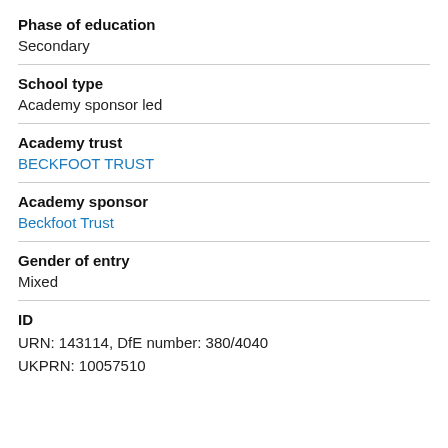Phase of education
Secondary
School type
Academy sponsor led
Academy trust
BECKFOOT TRUST
Academy sponsor
Beckfoot Trust
Gender of entry
Mixed
ID
URN: 143114, DfE number: 380/4040
UKPRN: 10057510